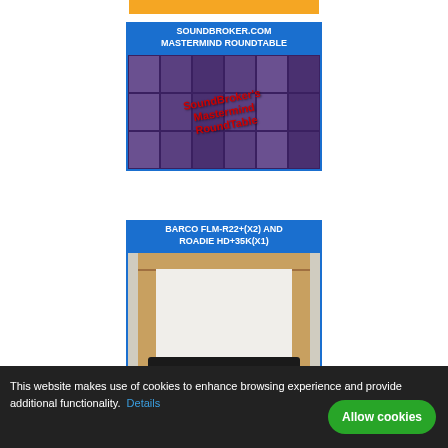[Figure (other): Orange banner bar at top]
[Figure (screenshot): SoundBroker.com Mastermind RoundTable card with group video call screenshot and overlay text 'SoundBroker's Mastermind RoundTable']
[Figure (screenshot): Barco FLM-R22+(X2) and Roadie HD+35K(X1) product listing card showing photo of large projection equipment in wooden crates]
This website makes use of cookies to enhance browsing experience and provide additional functionality. Details
Allow cookies